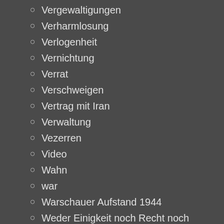Vergewaltigungen
Verharmlosung
Verlogenheit
Vernichtung
Verrat
Verschweigen
Vertrag mit Iran
Verwaltung
Vezerren
Video
Wahn
war
Warschauer Aufstand 1944
Weder Einigkeit noch Recht noch Freiheit
Wertegemeinschaft der lupenreinen Hurensöhne
Westliche Werte sind die Mehrwehrte
Widerstand